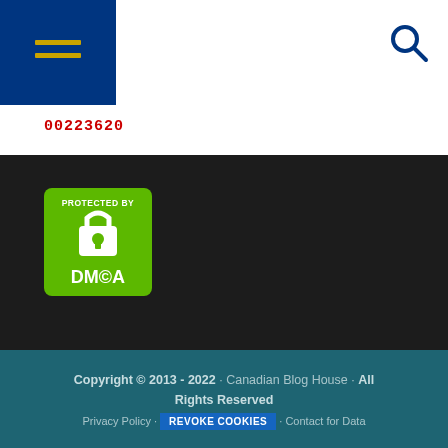☰ [menu] 🔍 [search]
00223620
[Figure (logo): DMCA Protected By badge - green square with padlock icon and DMCA text]
Copyright © 2013 - 2022 · Canadian Blog House · All Rights Reserved · Privacy Policy · REVOKE COOKIES · Contact for Data